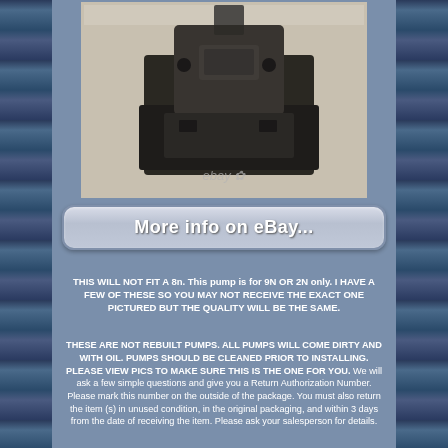[Figure (photo): Photo of a dirty hydraulic pump for Ford 9N or 2N tractor, shown on a light surface with eBay watermark visible]
[Figure (other): eBay listing button reading 'More info on eBay...' with rounded rectangle border]
THIS WILL NOT FIT A 8n. This pump is for 9N OR 2N only. I HAVE A FEW OF THESE SO YOU MAY NOT RECEIVE THE EXACT ONE PICTURED BUT THE QUALITY WILL BE THE SAME.
THESE ARE NOT REBUILT PUMPS. ALL PUMPS WILL COME DIRTY AND WITH OIL. PUMPS SHOULD BE CLEANED PRIOR TO INSTALLING. PLEASE VIEW PICS TO MAKE SURE THIS IS THE ONE FOR YOU. We will ask a few simple questions and give you a Return Authorization Number. Please mark this number on the outside of the package. You must also return the item (s) in unused condition, in the original packaging, and within 3 days from the date of receiving the item. Please ask your salesperson for details.